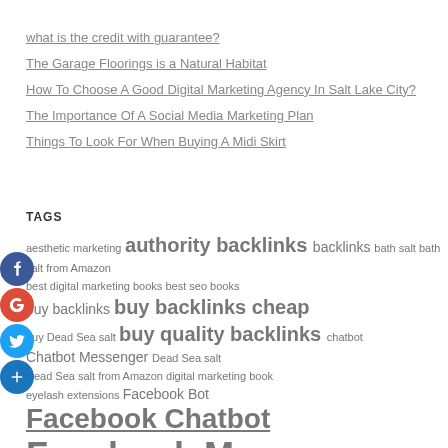what is the credit with guarantee?
The Garage Floorings is a Natural Habitat
How To Choose A Good Digital Marketing Agency In Salt Lake City?
The Importance Of A Social Media Marketing Plan
Things To Look For When Buying A Midi Skirt
TAGS
aesthetic marketing authority backlinks backlinks bath salt bath salt from Amazon best digital marketing books best seo books buy backlinks buy backlinks cheap buy Dead Sea salt buy quality backlinks chatbot Chatbot Messenger Dead Sea salt Dead Sea salt from Amazon digital marketing book eyelash extensions Facebook Bot Facebook Chatbot Facebook Messenger Bot